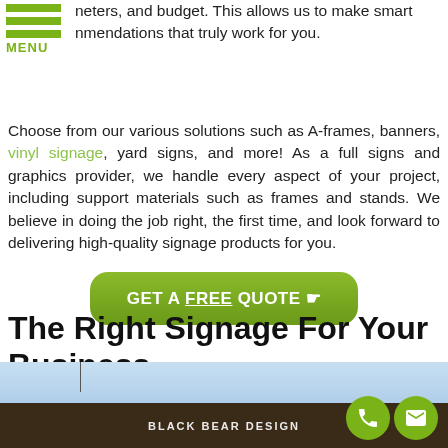neters, and budget. This allows us to make smart recommendations that truly work for you.
Choose from our various solutions such as A-frames, banners, vinyl signage, yard signs, and more! As a full signs and graphics provider, we handle every aspect of your project, including support materials such as frames and stands. We believe in doing the job right, the first time, and look forward to delivering high-quality signage products for you.
[Figure (other): Green button with text: GET A FREE QUOTE with cursor/hand icon]
The Right Signage For Your Business
[Figure (photo): Photo of a business sign (Black Bear Design) against a blue sky, with two circular green icon buttons (phone and email) in the bottom right corner.]